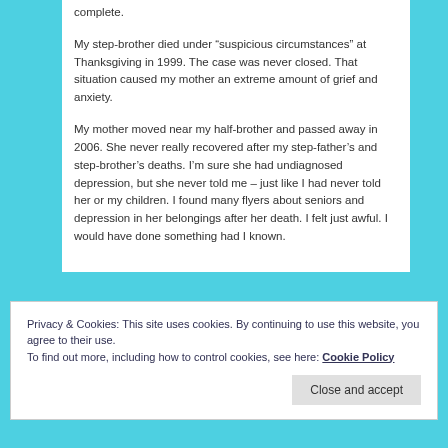complete.
My step-brother died under “suspicious circumstances” at Thanksgiving in 1999. The case was never closed. That situation caused my mother an extreme amount of grief and anxiety.
My mother moved near my half-brother and passed away in 2006. She never really recovered after my step-father’s and step-brother’s deaths. I’m sure she had undiagnosed depression, but she never told me – just like I had never told her or my children. I found many flyers about seniors and depression in her belongings after her death. I felt just awful. I would have done something had I known.
Privacy & Cookies: This site uses cookies. By continuing to use this website, you agree to their use.
To find out more, including how to control cookies, see here: Cookie Policy